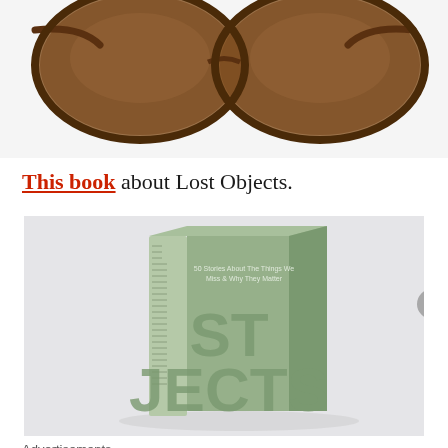[Figure (photo): Close-up of brown tortoiseshell sunglasses with brown lenses on white background]
This book about Lost Objects.
[Figure (photo): Green hardcover book titled 'Lost Objects' with subtitle '50 Stories About The Things We Miss & Why They Matter' displayed at an angle on light gray background]
Advertisements